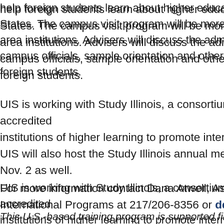help foreign students learn about higher education in the United States. The campus visit program will be more than just tours of area institutions. Advisers will discuss the admissions process with campus officials, sample orientation and other programs designed for foreign students.
UIS is working with Study Illinois, a consortium of over accredited institutions of higher learning to promote international education. UIS will also host the Study Illinois annual meeting from Nov. 2 as well.
For more information contact Dana Atwell, Associate Director of International Programs at 217/206-8356 or ddersh1@...
This U.S.-based training program is supported financially by the Bureau of Educational and Cultural Affairs of the United States...